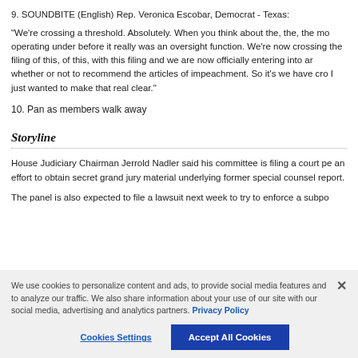9. SOUNDBITE (English) Rep. Veronica Escobar, Democrat - Texas:
"We're crossing a threshold. Absolutely. When you think about the, the, the mo operating under before it really was an oversight function. We're now crossing the filing of this, of this, with this filing and we are now officially entering into ar whether or not to recommend the articles of impeachment. So it's we have cro I just wanted to make that real clear."
10. Pan as members walk away
Storyline
House Judiciary Chairman Jerrold Nadler said his committee is filing a court pe an effort to obtain secret grand jury material underlying former special counsel report.
The panel is also expected to file a lawsuit next week to try to enforce a subpo
We use cookies to personalize content and ads, to provide social media features and to analyze our traffic. We also share information about your use of our site with our social media, advertising and analytics partners. Privacy Policy